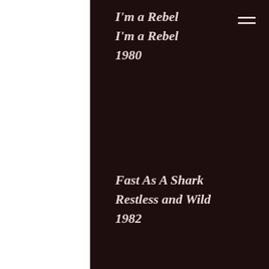I'm a Rebel
I'm a Rebel
1980
Fast As A Shark
Restless and Wild
1982